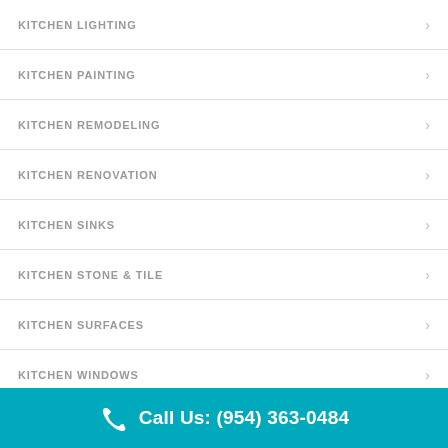KITCHEN LIGHTING
KITCHEN PAINTING
KITCHEN REMODELING
KITCHEN RENOVATION
KITCHEN SINKS
KITCHEN STONE & TILE
KITCHEN SURFACES
KITCHEN WINDOWS
LUXURY KITCHEN DESIGNS
MODERN KITCHENS
Call Us: (954) 363-0484